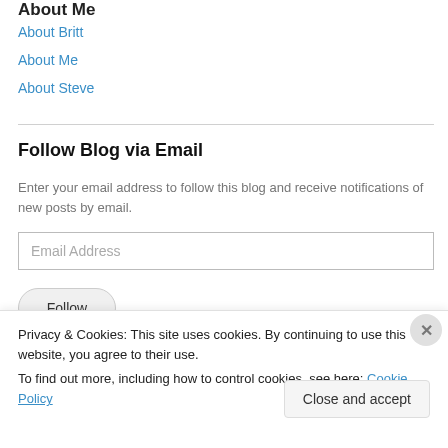About Me
About Britt
About Me
About Steve
Follow Blog via Email
Enter your email address to follow this blog and receive notifications of new posts by email.
Email Address
Follow
Privacy & Cookies: This site uses cookies. By continuing to use this website, you agree to their use.
To find out more, including how to control cookies, see here: Cookie Policy
Close and accept